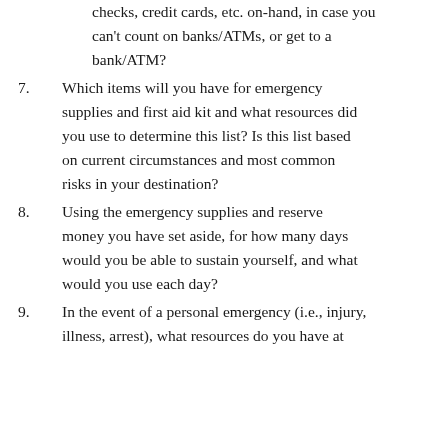6. Do you have emergency cash reserves, travelers checks, credit cards, etc. on-hand, in case you can't count on banks/ATMs, or get to a bank/ATM?
7. Which items will you have for emergency supplies and first aid kit and what resources did you use to determine this list? Is this list based on current circumstances and most common risks in your destination?
8. Using the emergency supplies and reserve money you have set aside, for how many days would you be able to sustain yourself, and what would you use each day?
9. In the event of a personal emergency (i.e., injury, illness, arrest), what resources do you have at